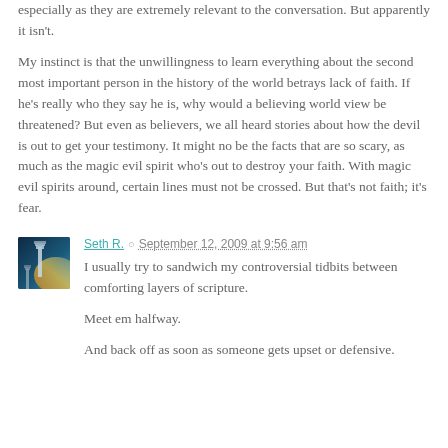especially as they are extremely relevant to the conversation. But apparently it isn't.
My instinct is that the unwillingness to learn everything about the second most important person in the history of the world betrays lack of faith. If he's really who they say he is, why would a believing world view be threatened? But even as believers, we all heard stories about how the devil is out to get your testimony. It might no be the facts that are so scary, as much as the magic evil spirit who's out to destroy your faith. With magic evil spirits around, certain lines must not be crossed. But that's not faith; it's fear.
Seth R. — September 12, 2009 at 9:56 am
I usually try to sandwich my controversial tidbits between comforting layers of scripture.
Meet em halfway.
And back off as soon as someone gets upset or defensive.